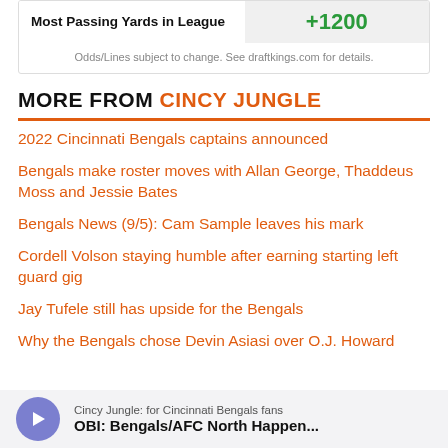| Most Passing Yards in League | +1200 |
| --- | --- |
Odds/Lines subject to change. See draftkings.com for details.
MORE FROM CINCY JUNGLE
2022 Cincinnati Bengals captains announced
Bengals make roster moves with Allan George, Thaddeus Moss and Jessie Bates
Bengals News (9/5): Cam Sample leaves his mark
Cordell Volson staying humble after earning starting left guard gig
Jay Tufele still has upside for the Bengals
Why the Bengals chose Devin Asiasi over O.J. Howard
[Figure (other): Podcast player bar: Cincy Jungle: for Cincinnati Bengals fans — OBI: Bengals/AFC North Happen...]